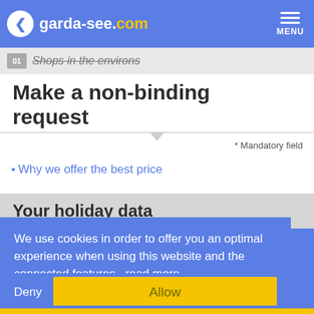garda-see.com | MENU
Shops in the environs
Make a non-binding request
* Mandatory field
· Why we offer the best price
Your holiday data
We use cookies in order to offer you an optimal experience when using this website and the connected features. read more
Deny | Allow